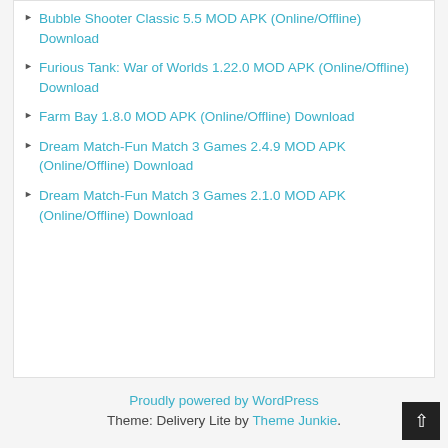Bubble Shooter Classic 5.5 MOD APK (Online/Offline) Download
Furious Tank: War of Worlds 1.22.0 MOD APK (Online/Offline) Download
Farm Bay 1.8.0 MOD APK (Online/Offline) Download
Dream Match-Fun Match 3 Games 2.4.9 MOD APK (Online/Offline) Download
Dream Match-Fun Match 3 Games 2.1.0 MOD APK (Online/Offline) Download
Proudly powered by WordPress
Theme: Delivery Lite by Theme Junkie.